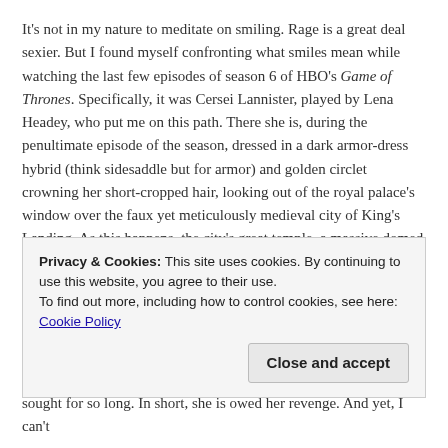It's not in my nature to meditate on smiling. Rage is a great deal sexier. But I found myself confronting what smiles mean while watching the last few episodes of season 6 of HBO's Game of Thrones. Specifically, it was Cersei Lannister, played by Lena Headey, who put me on this path. There she is, during the penultimate episode of the season, dressed in a dark armor-dress hybrid (think sidesaddle but for armor) and golden circlet crowning her short-cropped hair, looking out of the royal palace's window over the faux yet meticulously medieval city of King's Landing. As this happens, the city's great temple, a massive domed structure in which all of her enemies have gathered to ostensibly witness her be tried for the crime of incest (among many, many, many others) explodes in green flame. The corners of her mouth rise to form a self-satisfied, close-lipped smile. Think: the cat who ate the canary. The smile is delicious in every way,
Privacy & Cookies: This site uses cookies. By continuing to use this website, you agree to their use.
To find out more, including how to control cookies, see here: Cookie Policy
[Close and accept]
sought for so long. In short, she is owed her revenge. And yet, I can't